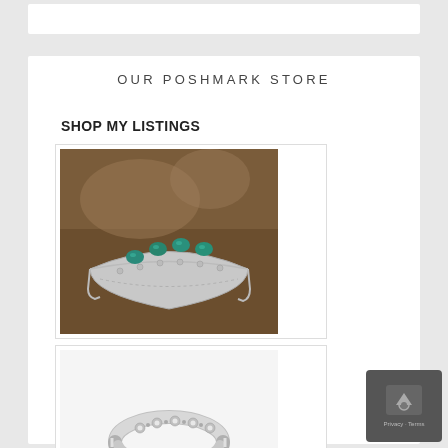OUR POSHMARK STORE
SHOP MY LISTINGS
[Figure (photo): Silver cuff bracelet with turquoise stones against a rustic brown background]
[Figure (photo): Silver toe ring with floral/daisy pattern on white background]